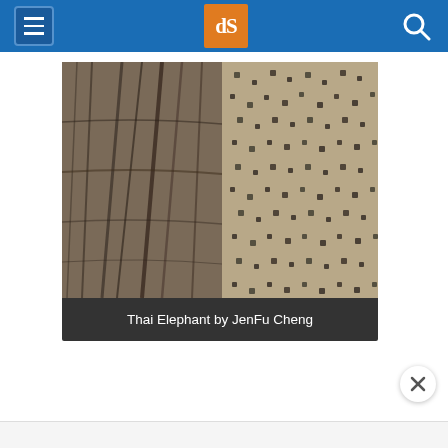dPS navigation bar
[Figure (photo): Close-up photograph of an elephant's skin showing deep wrinkles and textured hide, with a mottled pattern of dark and light tones. The image is cropped tightly showing the rough, folded skin surface.]
Thai Elephant by JenFu Cheng